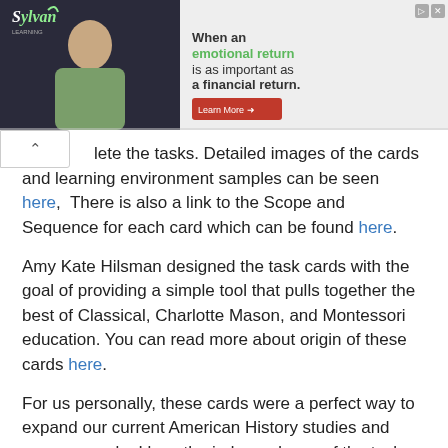[Figure (illustration): Sylvan Learning advertisement banner showing a smiling woman and text 'When an emotional return is as important as a financial return.' with a Learn More button.]
lete the tasks. Detailed images of the cards and learning environment samples can be seen here, There is also a link to the Scope and Sequence for each card which can be found here.
Amy Kate Hilsman designed the task cards with the goal of providing a simple tool that pulls together the best of Classical, Charlotte Mason, and Montessori education. You can read more about origin of these cards here.
For us personally, these cards were a perfect way to expand our current American History studies and memory work. I love the independence of the task cards but I also love the fact that we can do all the tasks together if we choose too or skip some portions